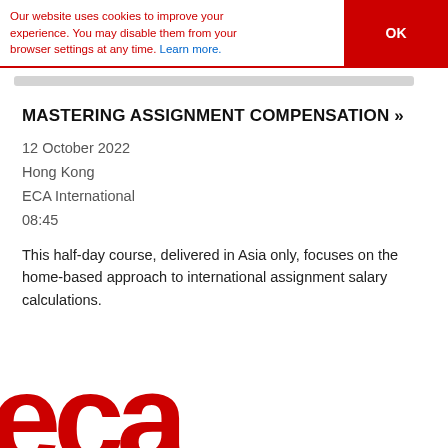Our website uses cookies to improve your experience. You may disable them from your browser settings at any time. Learn more.
MASTERING ASSIGNMENT COMPENSATION »
12 October 2022
Hong Kong
ECA International
08:45
This half-day course, delivered in Asia only, focuses on the home-based approach to international assignment salary calculations.
[Figure (logo): ECA International red logo letters at bottom of page]